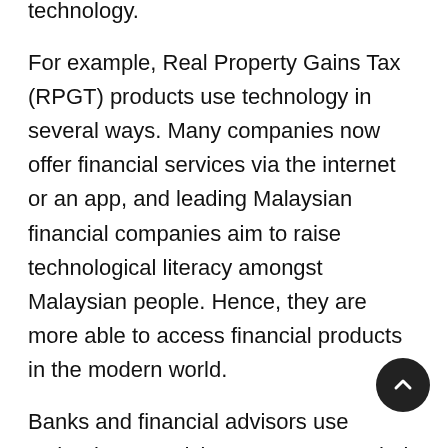technology.
For example, Real Property Gains Tax (RPGT) products use technology in several ways. Many companies now offer financial services via the internet or an app, and leading Malaysian financial companies aim to raise technological literacy amongst Malaysian people. Hence, they are more able to access financial products in the modern world.
Banks and financial advisors use technology to advise customers on their financial products or to offer quotes, assessments, and application forms. Digital financial services have never been more popular, and almost everyone uses some form of online banking these days.